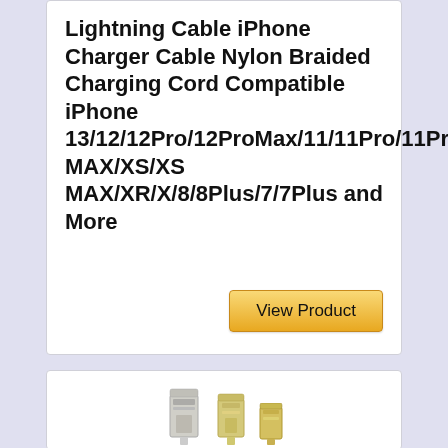Lightning Cable iPhone Charger Cable Nylon Braided Charging Cord Compatible iPhone 13/12/12Pro/12ProMax/11/11Pro/11Pro MAX/XS/XS MAX/XR/X/8/8Plus/7/7Plus and More
[Figure (other): View Product button - golden/yellow button]
[Figure (photo): Product image showing USB and Lightning cable connectors at the bottom of a white card]